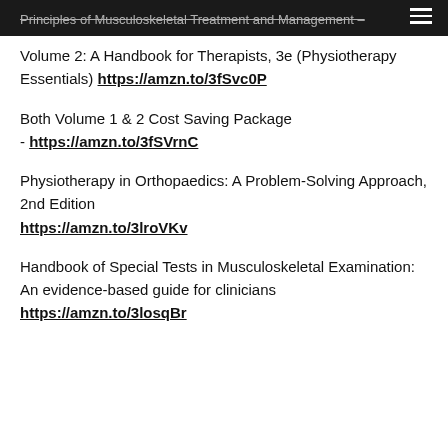Principles of Musculoskeletal Treatment and Management – Volume 2: A Handbook for Therapists, 3e (Physiotherapy Essentials)
Volume 2: A Handbook for Therapists, 3e (Physiotherapy Essentials) https://amzn.to/3fSvc0P
Both Volume 1 & 2 Cost Saving Package - https://amzn.to/3fSVrnC
Physiotherapy in Orthopaedics: A Problem-Solving Approach, 2nd Edition https://amzn.to/3lroVKv
Handbook of Special Tests in Musculoskeletal Examination: An evidence-based guide for clinicians https://amzn.to/3losqBr